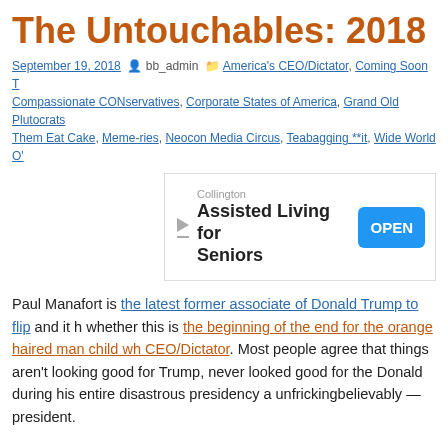The Untouchables: 2018
September 19, 2018  bb_admin  America's CEO/Dictator, Coming Soon T Compassionate CONservatives, Corporate States of America, Grand Old Plutocrats Them Eat Cake, Meme-ries, Neocon Media Circus, Teabagging **it, Wide World O'
[Figure (other): Advertisement for Collington Assisted Living for Seniors with an OPEN button]
Paul Manafort is the latest former associate of Donald Trump to flip and it h whether this is the beginning of the end for the orange haired man child wh CEO/Dictator. Most people agree that things aren't looking good for Trump, never looked good for the Donald during his entire disastrous presidency a unfrickingbelievably — president.
This whole clusterf*cked trauma brings to mind for us old farts here at the B crime drama The Untouchables starring Robert Stack as Eliot Ness, which in syndication on TV for the last fifty years. In the episodes, Ness and his b pursued noted criminal gangsters like Dutch Schultz, Frank Nitti and the ki lead-in and ending graphic for the show was very stylistic and combined wi set the mood perfectly for the drama. We can just imagine a possible reality Robert Mueller leading his intrepid team of FBI agents as they descend on justice members of the Republican crime syndicate like Manafort, Michael C dear leader, the real Alphonse Capone of the 21st century, Donald Trump.